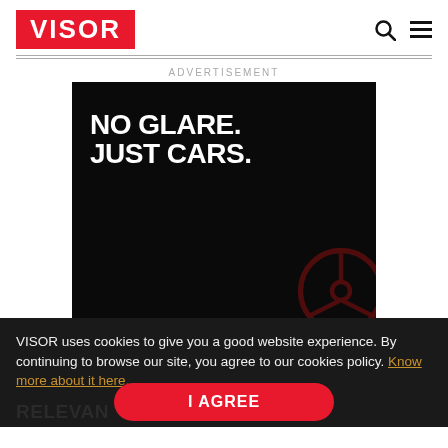VISOR
ADVERTISEMENT
[Figure (other): Black advertisement banner with bold white text reading 'NO GLARE. JUST CARS.' with a faint red steering wheel graphic in the lower right corner.]
VISOR uses cookies to give you a good website experience. By continuing to browse our site, you agree to our cookies policy. Know more about it here.
RELEVAN
I AGREE